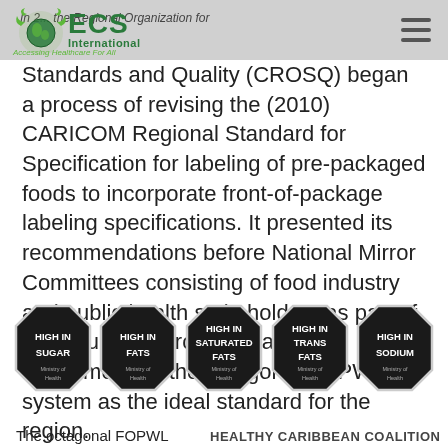ECS International – Accessing Healthcare For All
In 2... the Regional Organization for Standards and Quality (CROSQ) began a process of revising the (2010) CARICOM Regional Standard for Specification for labeling of pre-packaged foods to incorporate front-of-package labeling specifications. It presented its recommendations before National Mirror Committees consisting of food industry and public health stakeholders as part of a consultative process—and recommended the octagonal FOPWL system as the ideal standard for the region.
[Figure (illustration): Five black octagonal front-of-package warning labels reading: HIGH IN SUGAR, HIGH IN FATS, HIGH IN SATURATED FATS, HIGH IN TRANS FATS, HIGH IN SODIUM — each with 'Ministry of Health' text at the bottom inside the octagon.]
The octagonal FOPWL   HEALTHY CARIBBEAN COALITION